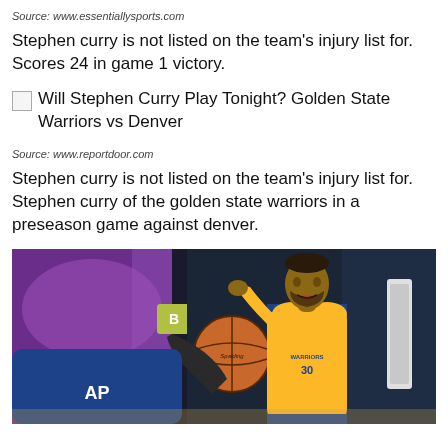Source: www.essentiallysports.com
Stephen curry is not listed on the team's injury list for. Scores 24 in game 1 victory.
[Figure (screenshot): Broken image placeholder followed by link text: Will Stephen Curry Play Tonight? Golden State Warriors vs Denver]
Source: www.reportdoor.com
Stephen curry is not listed on the team's injury list for. Stephen curry of the golden state warriors in a preseason game against denver.
[Figure (photo): Photo of Stephen Curry in Golden State Warriors yellow and blue jersey driving to the basket with a basketball, against a purple-lit arena background]